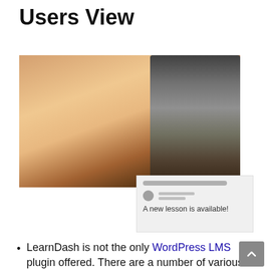Users View
[Figure (photo): A hand holding a smartphone with a coffee cup in the background, and a notification overlay reading 'A new lesson is available!']
LearnDash is not the only WordPress LMS plugin offered. There are a number of various other plugins, such as LearnPress and Nelio